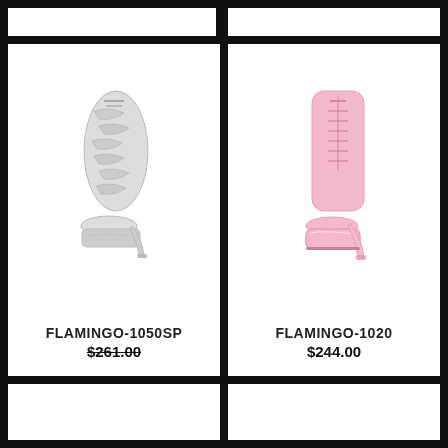[Figure (photo): Silver snake print high heel platform ankle boot - FLAMINGO-1050SP]
FLAMINGO-1050SP
$261.00
[Figure (photo): Baby pink patent lace-up high heel platform boot - FLAMINGO-1020]
FLAMINGO-1020
$244.00